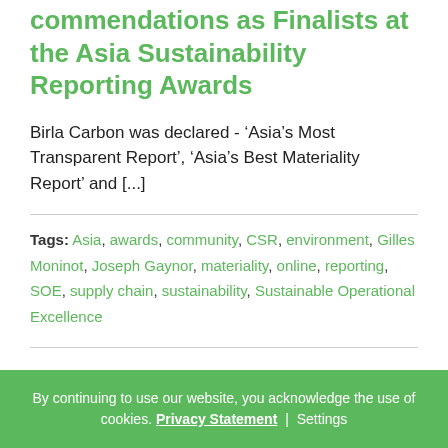commendations as Finalists at the Asia Sustainability Reporting Awards
Birla Carbon was declared - ‘Asia’s Most Transparent Report’, ‘Asia’s Best Materiality Report’ and [...]
Tags: Asia, awards, community, CSR, environment, Gilles Moninot, Joseph Gaynor, materiality, online, reporting, SOE, supply chain, sustainability, Sustainable Operational Excellence
By continuing to use our website, you acknowledge the use of cookies. Privacy Statement | Settings